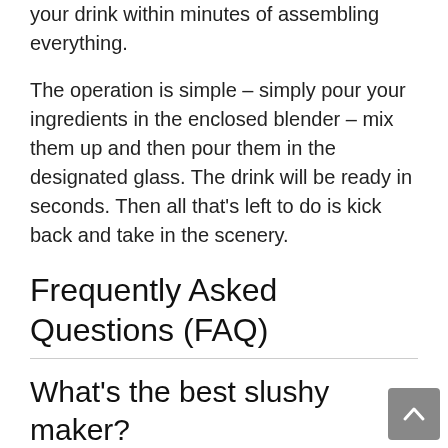your drink within minutes of assembling everything.
The operation is simple – simply pour your ingredients in the enclosed blender – mix them up and then pour them in the designated glass. The drink will be ready in seconds. Then all that's left to do is kick back and take in the scenery.
Frequently Asked Questions (FAQ)
What's the best slushy maker?
You'll see many recipes for slushies that add milk or cream to the crushed ice, some add flavorings, and they all work pretty well. You